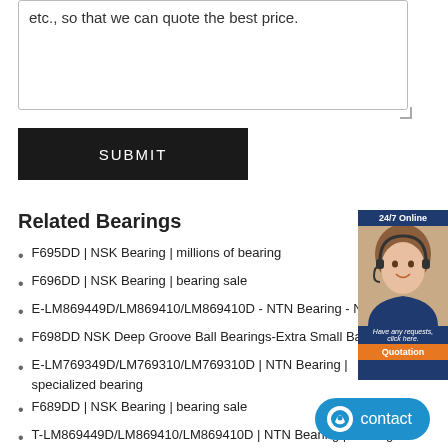etc., so that we can quote the best price.
SUBMIT
Related Bearings
F695DD | NSK Bearing | millions of bearing
F696DD | NSK Bearing | bearing sale
E-LM869449D/LM869410/LM869410D - NTN Bearing - NTN D
F698DD NSK Deep Groove Ball Bearings-Extra Small Ball
E-LM769349D/LM769310/LM769310D | NTN Bearing | specialized bearing
F689DD | NSK Bearing | bearing sale
T-LM869449D/LM869410/LM869410D | NTN Bearing | bearing sale
F697DD | NSK Bearing | low bearing price
LM769349D/LM769310/LM769310D | NTN Bearing | bearing home
F695VV | NSK Bearing | bearing sale
NSK rodamientos F697 rodamientos F697 Deep G
□F697ZZ1□_NSK F697ZZ1 bearing_NSK bearings
NSK 6819DD Bearings Wheaton | NSK Bearing Warehouse - NSK